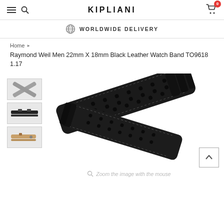KIPLIANI
WORLDWIDE DELIVERY
Home ▸ Raymond Weil Men 22mm X 18mm Black Leather Watch Band TO9618 1.17
Raymond Weil Men 22mm X 18mm Black Leather Watch Band TO9618 1.17
[Figure (photo): Black perforated leather watch band crossed over itself, showing two pieces of a Raymond Weil watch strap with white stitching and attachment hardware. Three thumbnail images on the left show different watch strap styles (grey, black, tan).]
Zoom the image with the mouse